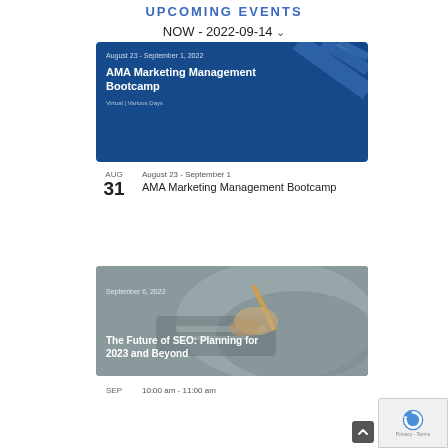UPCOMING EVENTS
NOW - 2022-09-14 ˅
[Figure (screenshot): Blue banner image for AMA Marketing Management Bootcamp event showing date August 23 - September 1, 2022 and subtitle Virtual | Various Days]
AUG
31
August 23 - September 1
AMA Marketing Management Bootcamp
[Figure (photo): Photo of hands working on laptop with a pen, with overlay text: September 6, 2022 and The Future of SEO: Planning for 2023 and Beyond]
SEP
10:00 am - 11:00 am